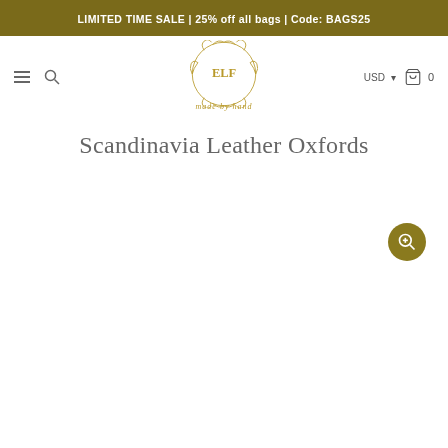LIMITED TIME SALE | 25% off all bags | Code: BAGS25
[Figure (logo): ELF made by hand brand logo in ornate gold circular design with decorative scrollwork]
Scandinavia Leather Oxfords
[Figure (other): Product image area with zoom button (magnifying glass with plus icon) in gold circle at right side]